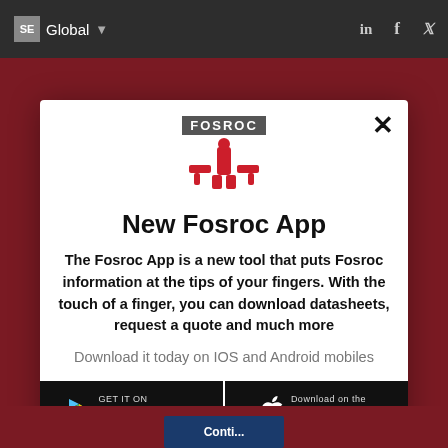Global
[Figure (logo): Fosroc logo with red icon and FOSROC wordmark]
New Fosroc App
The Fosroc App is a new tool that puts Fosroc information at the tips of your fingers. With the touch of a finger, you can download datasheets, request a quote and much more
Download it today on IOS and Android mobiles
[Figure (screenshot): GET IT ON Google Play button]
[Figure (screenshot): Download on the App Store button]
I accept cookies from this site